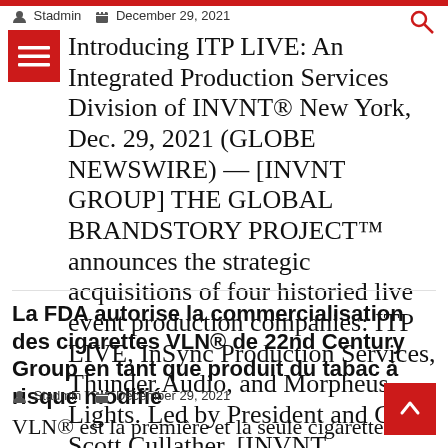Stadmin  December 29, 2021
Introducing ITP LIVE: An Integrated Production Services Division of INVNT® New York, Dec. 29, 2021 (GLOBE NEWSWIRE) — [INVNT GROUP] THE GLOBAL BRANDSTORY PROJECT™ announces the strategic acquisitions of four historied live event production companies: ITP LIVE, InSync Production Services, Thunder Audio, and Morpheus Lights. Led by President and CEO, Scott Cullather, [INVNT…
La FDA autorise la commercialisation des cigarettes VLN® de 22nd Century Group en tant que produit du tabac à risque modifié
Stadmin  December 29, 2021
VLN® est la première et la seule cigarette combustible au monde à recevoir la désignation MRTP de la FDA
↑